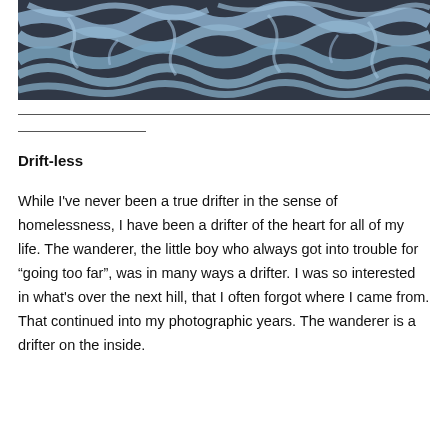[Figure (photo): Aerial photograph of braided river channels with blue-grey glacial water flowing in complex patterns over dark ground, resembling veins or branches.]
Drift-less
While I've never been a true drifter in the sense of homelessness, I have been a drifter of the heart for all of my life. The wanderer, the little boy who always got into trouble for “going too far”, was in many ways a drifter. I was so interested in what's over the next hill, that I often forgot where I came from. That continued into my photographic years. The wanderer is a drifter on the inside.